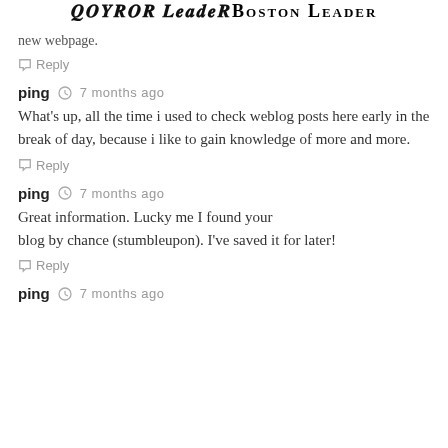Boston Leader
new webpage.
Reply
ping  7 months ago
What's up, all the time i used to check weblog posts here early in the break of day, because i like to gain knowledge of more and more.
Reply
ping  7 months ago
Great information. Lucky me I found your blog by chance (stumbleupon). I've saved it for later!
Reply
ping  7 months ago